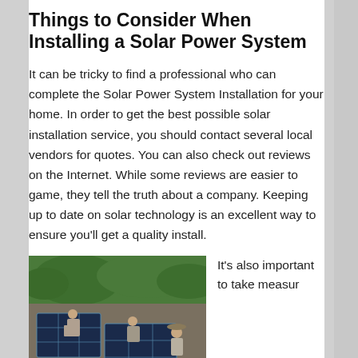Things to Consider When Installing a Solar Power System
It can be tricky to find a professional who can complete the Solar Power System Installation for your home. In order to get the best possible solar installation service, you should contact several local vendors for quotes. You can also check out reviews on the Internet. While some reviews are easier to game, they tell the truth about a company. Keeping up to date on solar technology is an excellent way to ensure you'll get a quality install.
[Figure (photo): Workers installing solar panels on a rooftop, with trees visible in the background.]
It's also important to take measur